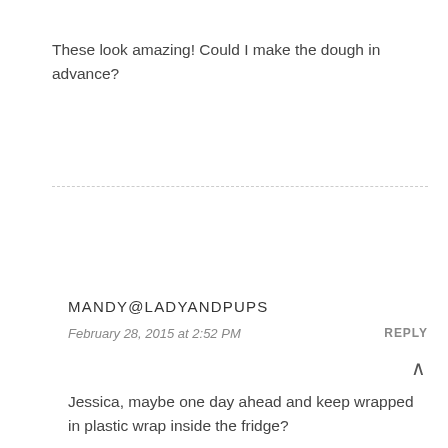These look amazing! Could I make the dough in advance?
MANDY@LADYANDPUPS
February 28, 2015 at 2:52 PM
REPLY
Jessica, maybe one day ahead and keep wrapped in plastic wrap inside the fridge?